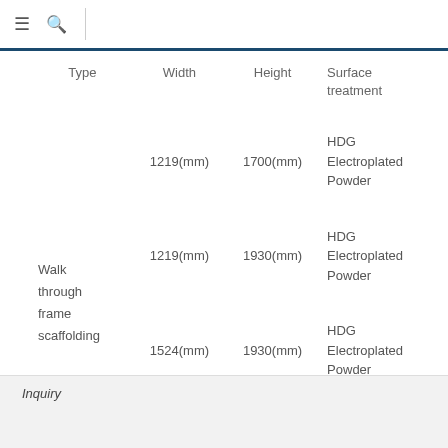≡ 🔍
| Type | Width | Height | Surface treatment |
| --- | --- | --- | --- |
| Walk through frame scaffolding | 1219(mm) | 1700(mm) | HDG Electroplated Powder |
| Walk through frame scaffolding | 1219(mm) | 1930(mm) | HDG Electroplated Powder |
| Walk through frame scaffolding | 1524(mm) | 1930(mm) | HDG Electroplated Powder |
| Walk through frame scaffolding | 1524(mm) | 1981(mm) | HDG Electroplated Powder |
Inquiry